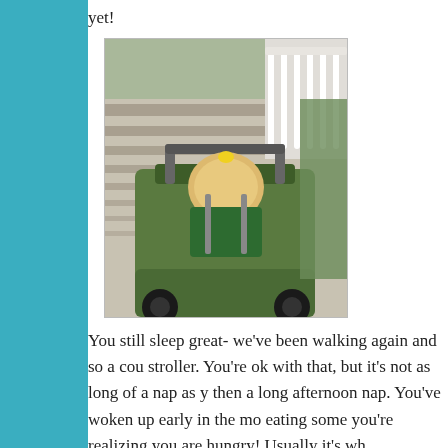yet!
[Figure (photo): A baby or toddler with blonde hair and a yellow hair accessory, sitting in a green stroller on a paved walkway with white balusters casting striped shadows. The photo is taken from behind/above the child.]
You still sleep great- we've been walking again and so a cou stroller. You're ok with that, but it's not as long of a nap as y then a long afternoon nap. You've woken up early in the mo eating some you're realizing you are hungry! Usually it's wh